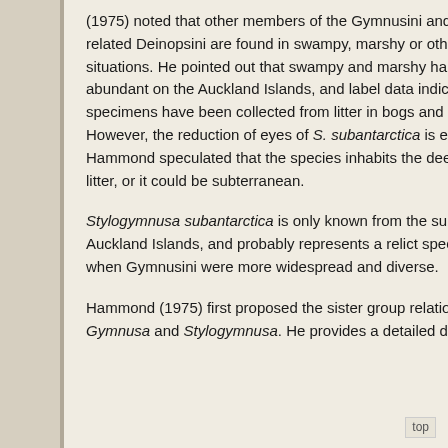(1975) noted that other members of the Gymnusini and the closely related Deinopsini are found in swampy, marshy or other riparian situations. He pointed out that swampy and marshy habitats are abundant on the Auckland Islands, and label data indicate that specimens have been collected from litter in bogs and swamps. However, the reduction of eyes of S. subantarctica is extreme, and Hammond speculated that the species inhabits the deepest layers of litter, or it could be subterranean.
Stylogymnusa subantarctica is only known from the subantarctic Auckland Islands, and probably represents a relict species from the time when Gymnusini were more widespread and diverse.
Hammond (1975) first proposed the sister group relationship between Gymnusa and Stylogymnusa. He provides a detailed description and
top